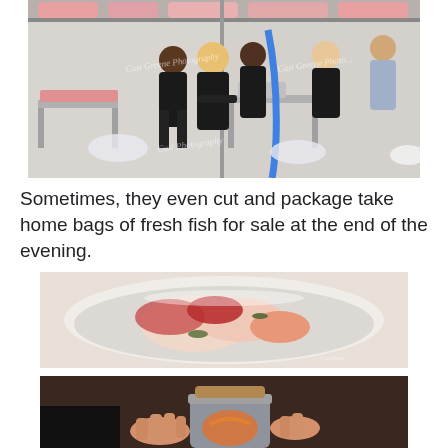[Figure (photo): Workers in a commercial kitchen/fish processing facility cutting and packaging meat/fish at stainless steel tables. Several people in black uniforms are visible working with raw fish. Photography watermark visible.]
Sometimes, they even cut and package take home bags of fresh fish for sale at the end of the evening.
[Figure (photo): Close-up overhead view of raw fish pieces in a clear glass bowl, showing various cuts of fresh fish including red and white flesh.]
[Figure (photo): Close-up of hands holding a glass jar, partially visible at the bottom of the page.]